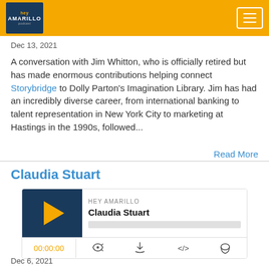Hey Amarillo
Dec 13, 2021
A conversation with Jim Whitton, who is officially retired but has made enormous contributions helping connect Storybridge to Dolly Parton's Imagination Library. Jim has had an incredibly diverse career, from international banking to talent representation in New York City to marketing at Hastings in the 1990s, followed...
Read More
Claudia Stuart
[Figure (other): Podcast player widget for Hey Amarillo episode 'Claudia Stuart' with play button, progress bar, time display 00:00:00, and control icons]
Dec 6, 2021